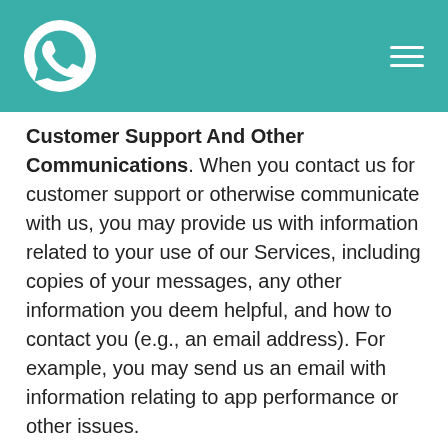WhatsApp header with logo and hamburger menu
Customer Support And Other Communications. When you contact us for customer support or otherwise communicate with us, you may provide us with information related to your use of our Services, including copies of your messages, any other information you deem helpful, and how to contact you (e.g., an email address). For example, you may send us an email with information relating to app performance or other issues.
Automatically Collected Information
Usage And Log Information. We collect information about your activity on our Services, like service-related, diagnostic, and performance